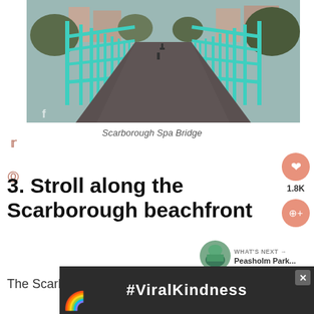[Figure (photo): Photograph of Scarborough Spa Bridge with turquoise/teal iron railings on both sides of a dark asphalt pedestrian pathway, trees and buildings visible in background under overcast sky]
Scarborough Spa Bridge
3. Stroll along the Scarborough beachfront
The Scarborough Spa is easily connected
[Figure (infographic): #ViralKindness advertisement banner with rainbow illustration on dark background]